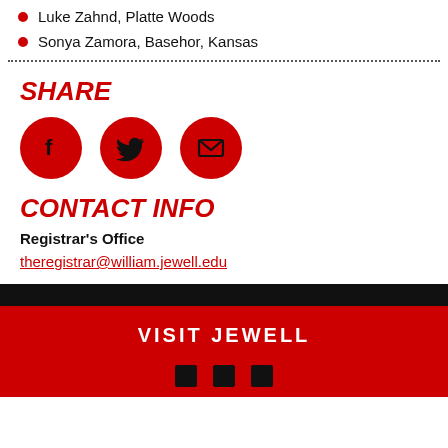Luke Zahnd, Platte Woods
Sonya Zamora, Basehor, Kansas
SHARE
[Figure (illustration): Three red circular social media icons: Facebook (f), Twitter (bird), and Email (envelope)]
CONTACT INFO
Registrar's Office
theregistrar@william.jewell.edu
VISIT JEWELL